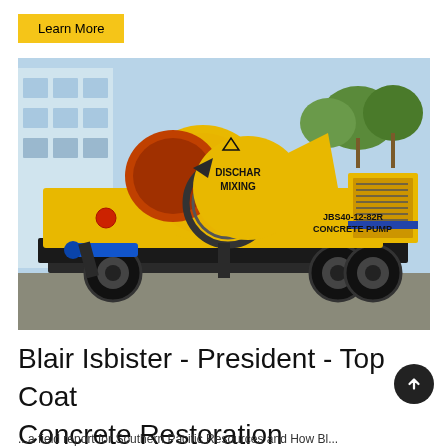Learn More
[Figure (photo): Yellow concrete mixing pump machine (JBS40-12-82R Concrete Pump) with large orange drum labeled 'DISCHAR MIXING', mounted on a trailer with black wheels, parked outdoors near a building.]
Blair Isbister - President - Top Coat Concrete Restoration
↑
...a field report for Southern Pacific Resources and How Bl...